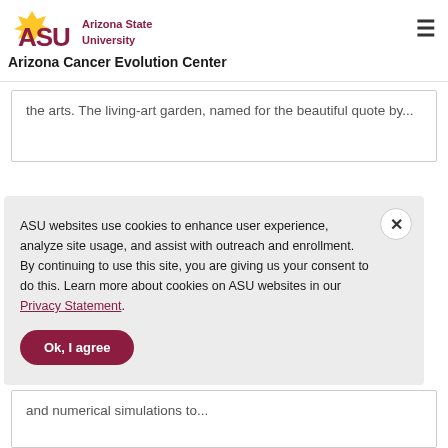[Figure (logo): Arizona State University logo with ASU text in maroon and gold sunburst icon, followed by 'Arizona State University' text]
Arizona Cancer Evolution Center
the arts.  The living-art garden, named for the beautiful quote by...
ASU websites use cookies to enhance user experience, analyze site usage, and assist with outreach and enrollment. By continuing to use this site, you are giving us your consent to do this. Learn more about cookies on ASU websites in our Privacy Statement.
Ok, I agree
and numerical simulations to...